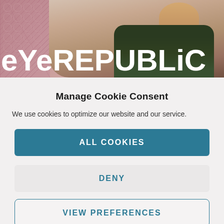[Figure (photo): EyeRepublic banner with woman in floral dress against pink lattice background, large white 'eYeREPUBLiC' text overlaid]
Manage Cookie Consent
We use cookies to optimize our website and our service.
ALL COOKIES
DENY
VIEW PREFERENCES